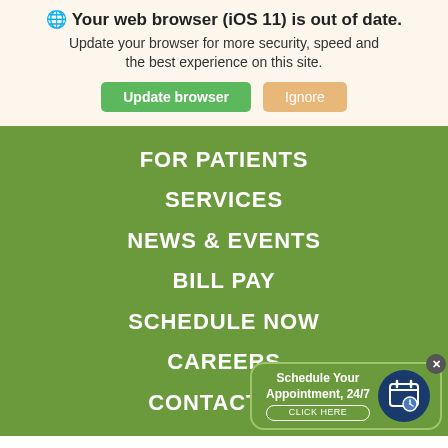🌐 Your web browser (iOS 11) is out of date. Update your browser for more security, speed and the best experience on this site.
Update browser | Ignore
FOR PATIENTS
SERVICES
NEWS & EVENTS
BILL PAY
SCHEDULE NOW
CAREERS
CONTACT US
Schedule Your Appointment, 24/7 CLICK HERE